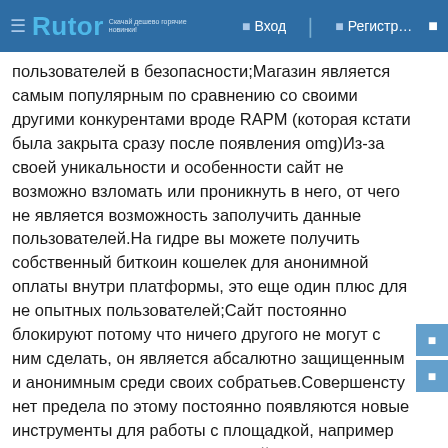Rutor | Вход | Регистр…
пользователей в безопасности;Магазин является самым популярным по сравнению со своими другими конкурентами вроде RAPM (которая кстати была закрыта сразу после появления omg)Из-за своей уникальности и особенности сайт не возможно взломать или проникнуть в него, от чего не является возможность заполучить данные пользователей.На гидре вы можете получить собственный биткоин кошелек для анонимной оплаты внутри платформы, это еще один плюс для не опытных пользователей;Сайт постоянно блокируют потому что ничего другого не могут с ним сделать, он является абсалютно защищенным и анонимным среди своих собратьев.Совершенсту нет предела по этому постоянно появляются новые инструменты для работы с площадкой, например совсем не давно появился новый адрес в tor omgmarkets, его легко запомнить потому что он имеет читабельное название в отличии от своих других имен в зоне онион. (зона onion известна как даркнет).Какими новшествами вы можете воспользоваться:Выиграть в рулетку на гидре вместо того